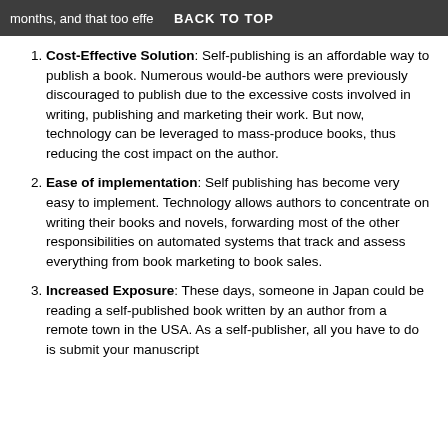months, and that too effectively. BACK TO TOP
Cost-Effective Solution: Self-publishing is an affordable way to publish a book. Numerous would-be authors were previously discouraged to publish due to the excessive costs involved in writing, publishing and marketing their work. But now, technology can be leveraged to mass-produce books, thus reducing the cost impact on the author.
Ease of implementation: Self publishing has become very easy to implement. Technology allows authors to concentrate on writing their books and novels, forwarding most of the other responsibilities on automated systems that track and assess everything from book marketing to book sales.
Increased Exposure: These days, someone in Japan could be reading a self-published book written by an author from a remote town in the USA. As a self-publisher, all you have to do is submit your manuscript